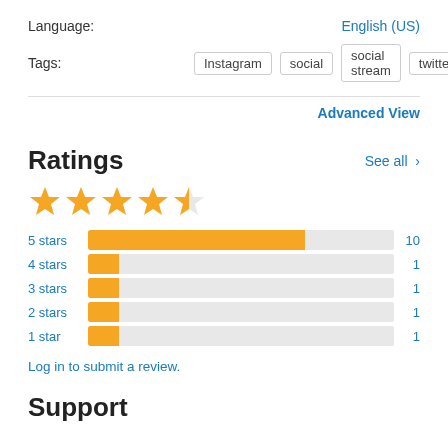Language:
English (US)
Tags:
Instagram   social   social stream   twitter
Advanced View
Ratings
See all >
[Figure (other): 4.5 star rating shown as 4 full gold stars and 1 half gold star]
[Figure (bar-chart): Ratings distribution]
Log in to submit a review.
Support